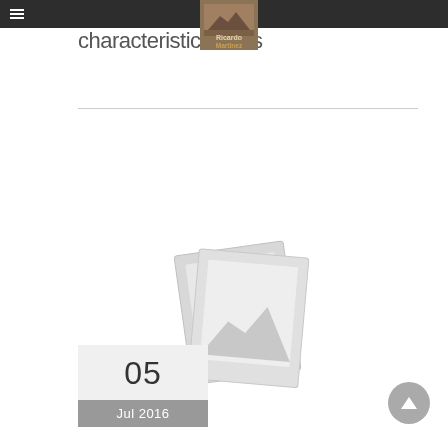≡
[Figure (logo): Ricardo Martinez logo with landscape photo thumbnail, showing text 'Ricardo' and 'Martinez' on brown background]
characteristic words
[Figure (illustration): Gray placeholder image icon showing two overlapping photo frames with a mountain/landscape silhouette]
05
Jul 2016
[Figure (illustration): Circular gray scroll-to-top button with upward arrow]